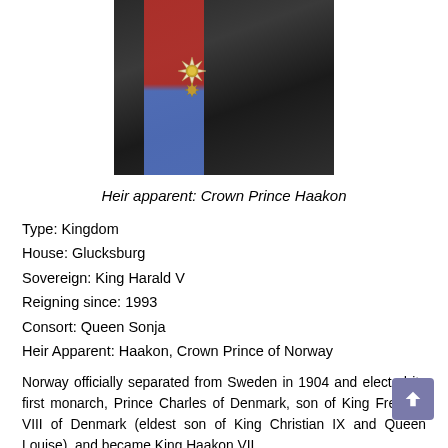[Figure (photo): A person wearing a dark uniform with a red and blue diagonal sash and military medals/decorations. Appears to be a formal royal portrait cropped to show chest and shoulders.]
Heir apparent: Crown Prince Haakon
Type: Kingdom
House: Glucksburg
Sovereign: King Harald V
Reigning since: 1993
Consort: Queen Sonja
Heir Apparent: Haakon, Crown Prince of Norway
Norway officially separated from Sweden in 1904 and elected its first monarch, Prince Charles of Denmark, son of King Frederik VIII of Denmark (eldest son of King Christian IX and Queen Louise), and became King Haakon VII.
King Haakon VII was the younger brother of King Christian X of Denmark and the oldest brother of Prince regent and...